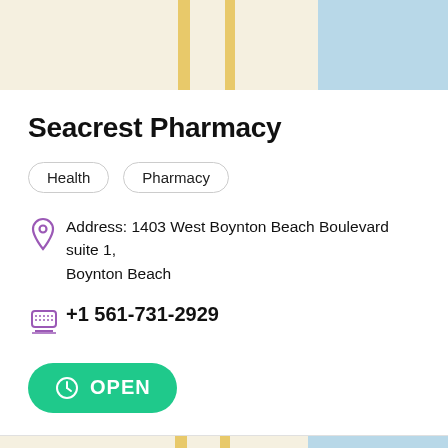[Figure (map): Top portion of a street map showing Boynton Beach area with roads in yellow/gold and water area in light blue on the right]
Seacrest Pharmacy
Health
Pharmacy
Address: 1403 West Boynton Beach Boulevard suite 1, Boynton Beach
+1 561-731-2929
OPEN
[Figure (map): Bottom portion of a street map showing Boynton Beach label with a purple location pin marker, roads in yellow/gold and water area in light blue on the right]